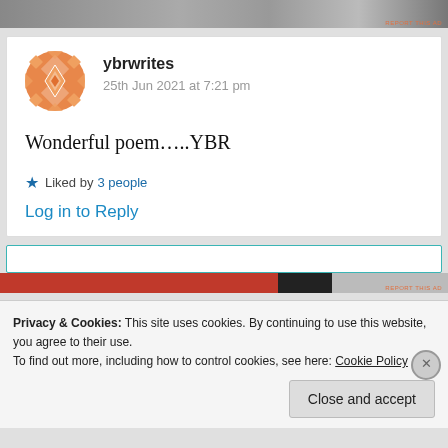[Figure (screenshot): Top image strip showing partial banner/ad image]
ybrwrites
25th Jun 2021 at 7:21 pm
Wonderful poem…..YBR
★ Liked by 3 people
Log in to Reply
Privacy & Cookies: This site uses cookies. By continuing to use this website, you agree to their use.
To find out more, including how to control cookies, see here: Cookie Policy
Close and accept